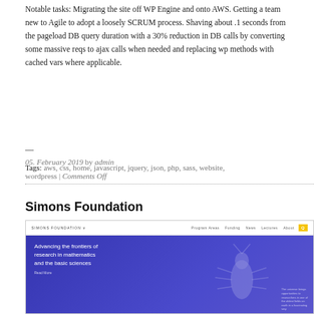Notable tasks: Migrating the site off WP Engine and onto AWS. Getting a team new to Agile to adopt a loosely SCRUM process. Shaving about .1 seconds from the pageload DB query duration with a 30% reduction in DB calls by converting some massive reqs to ajax calls when needed and replacing wp methods with cached vars where applicable.
— 05. February 2019 by admin
Tags: aws, css, home, javascript, jquery, json, php, sass, website, wordpress | Comments Off
Simons Foundation
[Figure (screenshot): Screenshot of the Simons Foundation website showing the navigation bar with logo and links (Program Areas, Funding, News, Lectures, About) and a blue hero section with text 'Advancing the frontiers of research in mathematics and the basic sciences' overlaid on a stylized insect illustration.]